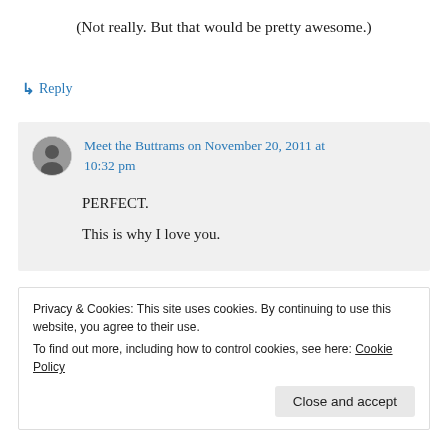(Not really. But that would be pretty awesome.)
↳ Reply
Meet the Buttrams on November 20, 2011 at 10:32 pm
PERFECT.
This is why I love you.
Privacy & Cookies: This site uses cookies. By continuing to use this website, you agree to their use. To find out more, including how to control cookies, see here: Cookie Policy